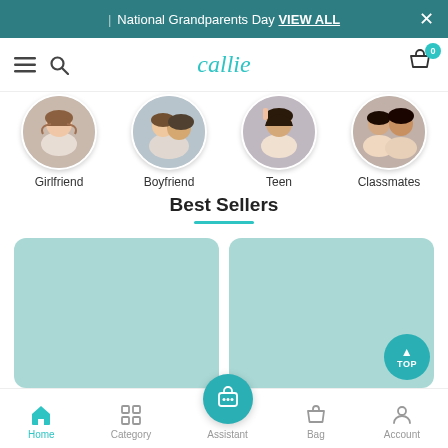National Grandparents Day VIEW ALL
[Figure (screenshot): Mobile app navigation bar with hamburger menu, search icon, 'callie' logo in teal italic, and cart icon with badge showing 0]
[Figure (photo): Four circular thumbnails: Girlfriend (smiling woman), Boyfriend (laughing couple), Teen (young woman), Classmates (two young women)]
Best Sellers
[Figure (illustration): Two teal/mint colored product placeholder cards side by side]
Home  Category  Assistant  Bag  Account